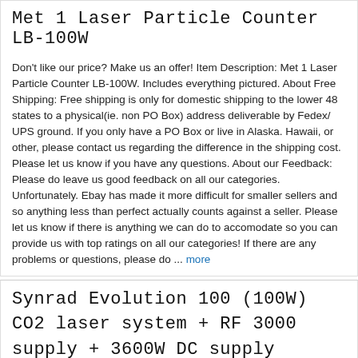Met 1 Laser Particle Counter LB-100W
Don't like our price? Make us an offer! Item Description: Met 1 Laser Particle Counter LB-100W. Includes everything pictured. About Free Shipping: Free shipping is only for domestic shipping to the lower 48 states to a physical(ie. non PO Box) address deliverable by Fedex/ UPS ground. If you only have a PO Box or live in Alaska. Hawaii, or other, please contact us regarding the difference in the shipping cost. Please let us know if you have any questions. About our Feedback: Please do leave us good feedback on all our categories. Unfortunately. Ebay has made it more difficult for smaller sellers and so anything less than perfect actually counts against a seller. Please let us know if there is anything we can do to accomodate so you can provide us with top ratings on all our categories! If there are any problems or questions, please do ... more
Synrad Evolution 100 (100W) CO2 laser system + RF 3000 supply + 3600W DC supply
You are bidding on a Synrad Evolution 100(100W) CO2 laser system which includes the following: Synrad Evolution 100 laser tube. Synrad RF 3000 RF power supply. Set of coaxial cables to provide RF power to laser tube. Phase One 3600W DC power supply(230V AC 3phase in. 30V 120A out) Set of power cables(AC in to Phase One. DC out) What you will need to get this running(not included in auction) Chiller to pump coolant through laser tube and RF supply. Coolant lines. Both laser and RF supply have terminals for plastic tubing, but you will have to provide the tubing. Signal generator for control signal into RF supply. You should be able to control the laser at a minimum charge for this. This is it...